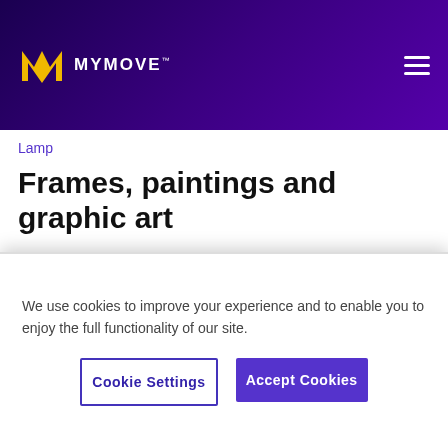[Figure (logo): MYMOVE logo with yellow M icon and white text on dark purple header background, with hamburger menu icon on the right]
Lamp
Frames, paintings and graphic art
When dealing with high ceilings, paintings are not just optional, they are a must. Why? Because they add life , elegance and nobility. Not all appreciate the soberness of an art
We use cookies to improve your experience and to enable you to enjoy the full functionality of our site.
Cookie Settings
Accept Cookies